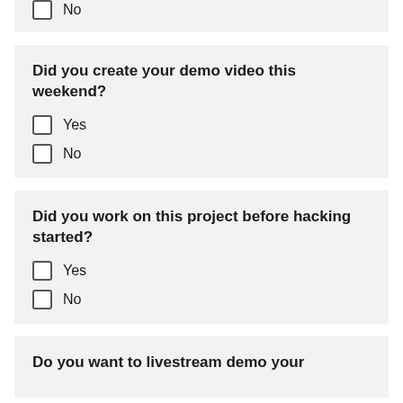No
Did you create your demo video this weekend?
Yes
No
Did you work on this project before hacking started?
Yes
No
Do you want to livestream demo your